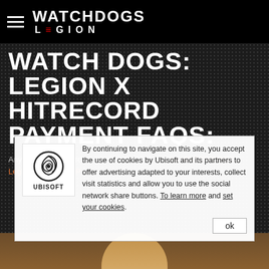WATCH DOGS LEGION (logo)
WATCH DOGS: LEGION X HITRECORD PAYMENT FAQS:
Any questions regarding payment? Check out the WATCH DOGS: Legion Community Payment video below, with HITRECORD's Community Director, Matt Conley.
By continuing to navigate on this site, you accept the use of cookies by Ubisoft and its partners to offer advertising adapted to your interests, collect visit statistics and allow you to use the social network share buttons. To learn more and set your cookies.
[Figure (screenshot): Cookie consent overlay with Ubisoft logo and text, ok button]